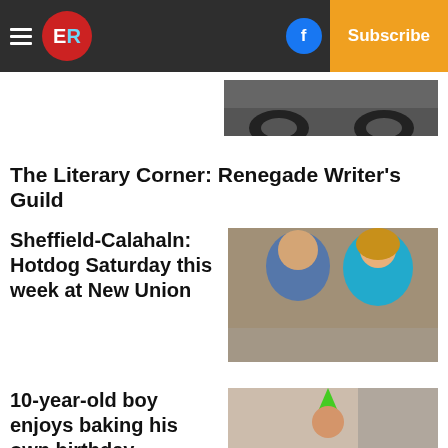ER | Log In | Subscribe
[Figure (photo): Partial black and white photo showing what appears to be wheels or vehicle parts]
The Literary Corner: Renegade Writer's Guild
Sheffield-Calahaln: Hotdog Saturday this week at New Union
[Figure (photo): Photo of an older man and woman smiling together]
10-year-old boy enjoys baking his own birthday
[Figure (photo): Photo of a young boy with a green party hat]